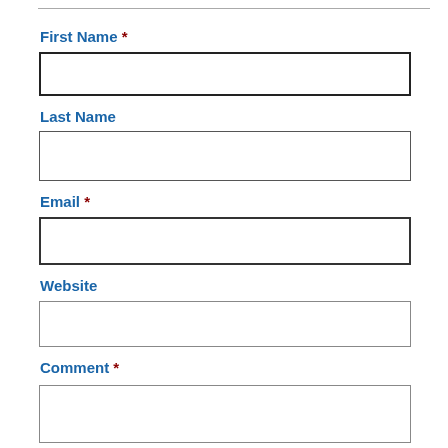First Name *
[Figure (other): Empty text input field for First Name]
Last Name
[Figure (other): Empty text input field for Last Name]
Email *
[Figure (other): Empty text input field for Email]
Website
[Figure (other): Empty text input field for Website]
Comment *
[Figure (other): Empty text input field for Comment]